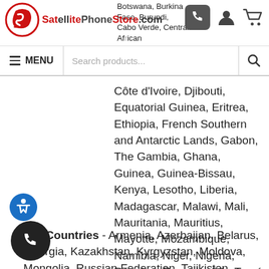Botswana, Burkina Faso, Burundi, Cabo Verde, Central African Republic, Chad, Comoros, Congo
[Figure (logo): Satellite Phone Store logo with red circular graphic and text]
SatellitePhoneStore.com
Navigation menu bar with search box
Côte d'Ivoire, Djibouti, Equatorial Guinea, Eritrea, Ethiopia, French Southern and Antarctic Lands, Gabon, The Gambia, Ghana, Guinea, Guinea-Bissau, Kenya, Lesotho, Liberia, Madagascar, Malawi, Mali, Mauritania, Mauritius, Mayotte, Mozambique, Namibia, Niger, Nigeria, Réunion, Rwanda, São Tomé and Príncipe, Senegal, Seychelles, Sierra Leone, South Africa, South Sudan, St. Helena island, Swaziland (Eswatini), Tanzania, Togo, Uganda, Zambia, Zimbabwe
CIS Countries - Armenia, Azerbaijan, Belarus, Georgia, Kazakhstan, Kyrgyzstan, Moldova, Mongolia, Russian Federation, Tajikistan, Turkmenistan, Ukraine and